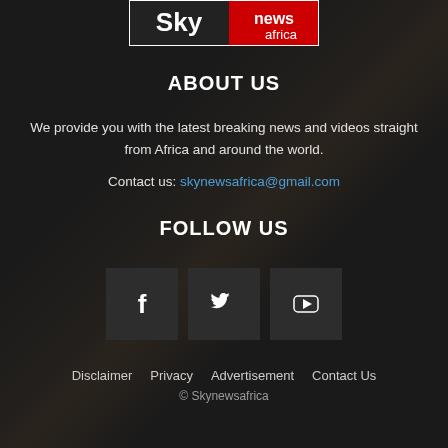[Figure (logo): Sky News Africa logo — white 'Sky' text on dark background left half, white 'news africa' text on red background right half]
ABOUT US
We provide you with the latest breaking news and videos straight from Africa and around the world.
Contact us: skynewsafrica@gmail.com
FOLLOW US
[Figure (infographic): Three social media icon boxes: Facebook (f), Twitter (bird), YouTube (play button)]
Disclaimer   Privacy   Advertisement   Contact Us
© Skynewsafrica